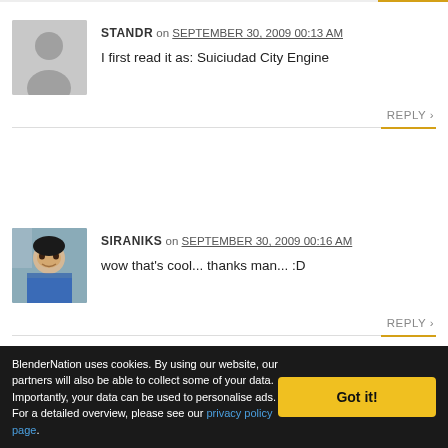STANDR on SEPTEMBER 30, 2009 00:13 AM
I first read it as: Suiciudad City Engine
REPLY
SIRANIKS on SEPTEMBER 30, 2009 00:16 AM
wow that's cool... thanks man... :D
REPLY
PILDANOVAK on SEPTEMBER 30, 2009 00:22 AM
not bad, but actually the other engine - open city engine, is still better
BlenderNation uses cookies. By using our website, our partners will also be able to collect some of your data. Importantly, your data can be used to personalise ads. For a detailed overview, please see our privacy policy page.